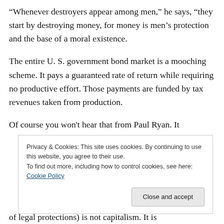“Whenever destroyers appear among men,” he says, “they start by destroying money, for money is men’s protection and the base of a moral existence.
The entire U. S. government bond market is a mooching scheme. It pays a guaranteed rate of return while requiring no productive effort. Those payments are funded by tax revenues taken from production.
Of course you won’t hear that from Paul Ryan. It
Privacy & Cookies: This site uses cookies. By continuing to use this website, you agree to their use.
To find out more, including how to control cookies, see here: Cookie Policy
of legal protections) is not capitalism. It is